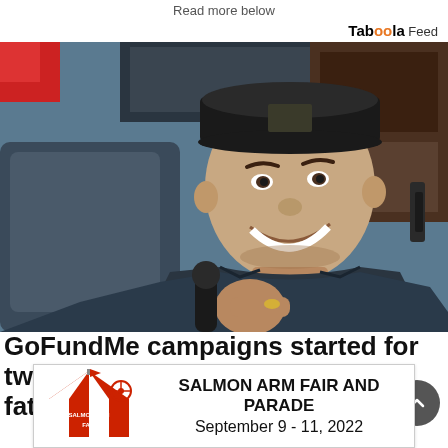Read more below
Taboola Feed
[Figure (photo): Young man smiling, wearing a dark baseball cap, sitting in the cab of a truck taking a selfie. He is wearing a dark jacket and holding something in his hand.]
GoFundMe campaigns started for two Fraser Valley men killed in fatal semi crash near
[Figure (logo): Salmon Arm Fair advertisement banner: Salmon Arm Fair logo on the left, text reads 'SALMON ARM FAIR AND PARADE September 9 - 11, 2022']